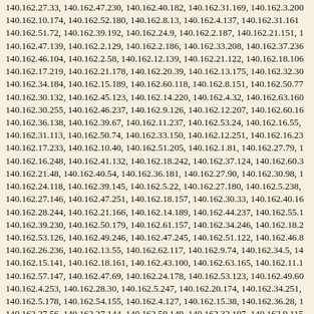140.162.27.33, 140.162.47.230, 140.162.40.182, 140.162.31.169, 140.162.3.200 140.162.10.174, 140.162.52.180, 140.162.8.13, 140.162.4.137, 140.162.31.161 140.162.51.72, 140.162.39.192, 140.162.24.9, 140.162.2.187, 140.162.21.151, 140.162.47.139, 140.162.2.129, 140.162.2.186, 140.162.33.208, 140.162.37.236 140.162.46.104, 140.162.2.58, 140.162.12.139, 140.162.21.122, 140.162.18.106 140.162.17.219, 140.162.21.178, 140.162.20.39, 140.162.13.175, 140.162.32.30 140.162.34.184, 140.162.15.189, 140.162.60.118, 140.162.8.151, 140.162.50.77 140.162.30.132, 140.162.45.123, 140.162.14.220, 140.162.4.32, 140.162.63.160 140.162.30.255, 140.162.46.237, 140.162.9.126, 140.162.12.207, 140.162.60.16 140.162.36.138, 140.162.39.67, 140.162.11.237, 140.162.53.24, 140.162.16.55, 140.162.31.113, 140.162.50.74, 140.162.33.150, 140.162.12.251, 140.162.16.23 140.162.17.233, 140.162.10.40, 140.162.51.205, 140.162.1.81, 140.162.27.79, 140.162.16.248, 140.162.41.132, 140.162.18.242, 140.162.37.124, 140.162.60.3 140.162.21.48, 140.162.40.54, 140.162.36.181, 140.162.27.90, 140.162.30.98, 140.162.24.118, 140.162.39.145, 140.162.5.22, 140.162.27.180, 140.162.5.238, 140.162.27.146, 140.162.47.251, 140.162.18.157, 140.162.30.33, 140.162.40.16 140.162.28.244, 140.162.21.166, 140.162.14.189, 140.162.44.237, 140.162.55.1 140.162.39.230, 140.162.50.179, 140.162.61.157, 140.162.34.246, 140.162.18.2 140.162.53.126, 140.162.49.246, 140.162.47.245, 140.162.51.122, 140.162.46.8 140.162.26.236, 140.162.13.55, 140.162.62.117, 140.162.9.74, 140.162.34.5, 14 140.162.15.141, 140.162.18.161, 140.162.43.100, 140.162.63.165, 140.162.11.1 140.162.57.147, 140.162.47.69, 140.162.24.178, 140.162.53.123, 140.162.49.60 140.162.4.253, 140.162.28.30, 140.162.5.247, 140.162.20.174, 140.162.34.251, 140.162.5.178, 140.162.54.155, 140.162.4.127, 140.162.15.38, 140.162.36.28, 1 140.162.27.56, 140.162.27.144, 140.162.59.149, 140.162.32.197, 140.162.9.115 140.162.43.210, 140.162.2.218, 140.162.30.16, 140.162.59.148, 140.162.42.206 140.162.8.120, 140.162.36.118, 140.162.34.223, 140.162.4.78, 140.162.30.103, 140.162.23.160, 140.162.3.54, 140.162.48.191, 140.162.15.209, 140.162.60.164 140.162.18.24, 140.162.50.53, 140.162.19.100, 140.162.24.126, 140.162.35.169 140.162.22.242, 140.162.6.129, 140.162.49.106, 140.162.49.189, 140.162.20.30 140.162.55.1, 140.162.46.180, 140.162.38.136, 140.162.10.192, 140.162.49.65, 140.162.57.229, 140.162.48.1, 140.162.21.4, 140.162.12.141, 140.162.14.32, 14 140.162.51.157, 140.162.7.22, 140.162.55.167, 140.162.26.95, 140.162.15.6